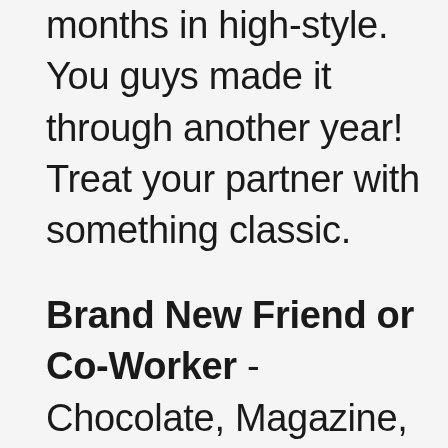months in high-style. You guys made it through another year! Treat your partner with something classic.
Brand New Friend or Co-Worker - Chocolate, Magazine, Art Print